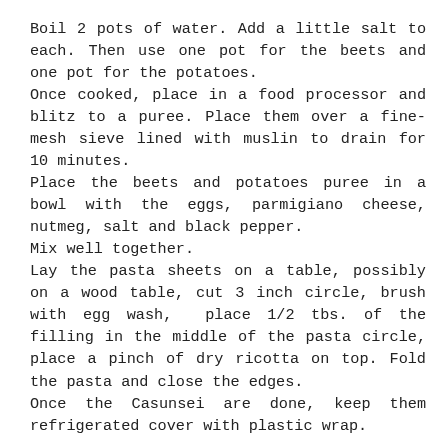Boil 2 pots of water. Add a little salt to each. Then use one pot for the beets and one pot for the potatoes.
Once cooked, place in a food processor and blitz to a puree. Place them over a fine-mesh sieve lined with muslin to drain for 10 minutes.
Place the beets and potatoes puree in a bowl with the eggs, parmigiano cheese, nutmeg, salt and black pepper.
Mix well together.
Lay the pasta sheets on a table, possibly on a wood table, cut 3 inch circle, brush with egg wash,  place 1/2 tbs. of the filling in the middle of the pasta circle, place a pinch of dry ricotta on top. Fold the pasta and close the edges.
Once the Casunsei are done, keep them refrigerated cover with plastic wrap.
In a large saute pan, cook the chopped onions and garlic with a little oil, add the chard or kale and cook for few minute, add salt and black pepper and remove them from